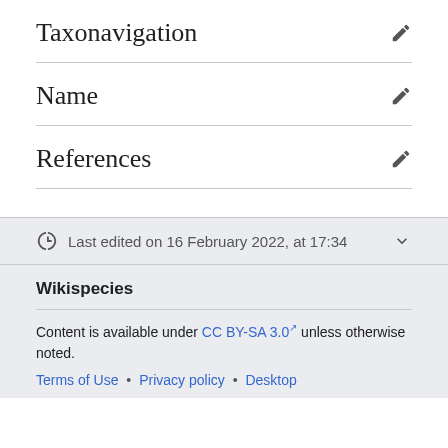Taxonavigation
Name
References
Last edited on 16 February 2022, at 17:34
Wikispecies
Content is available under CC BY-SA 3.0 unless otherwise noted.
Terms of Use • Privacy policy • Desktop